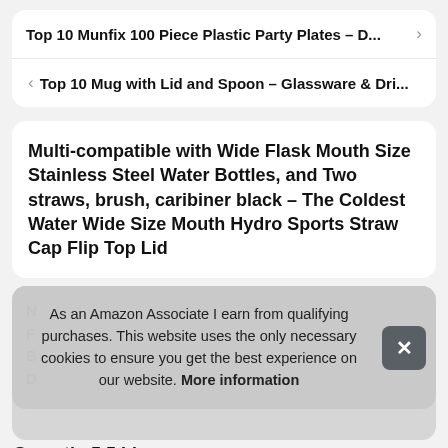Top 10 Munfix 100 Piece Plastic Party Plates – D...
Top 10 Mug with Lid and Spoon – Glassware & Dri...
Multi-compatible with Wide Flask Mouth Size Stainless Steel Water Bottles, and Two straws, brush, caribiner black – The Coldest Water Wide Size Mouth Hydro Sports Straw Cap Flip Top Lid
As an Amazon Associate I earn from qualifying purchases. This website uses the only necessary cookies to ensure you get the best experience on our website. More information
Smooth, 5.5 Lbs